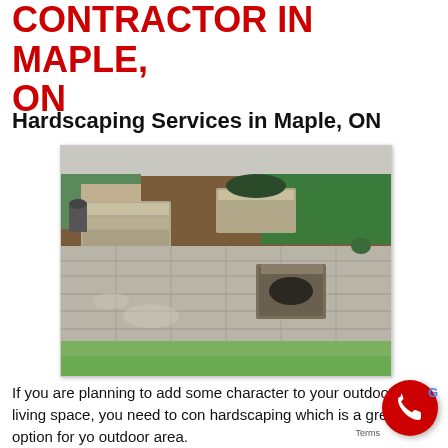CONTRACTOR IN MAPLE, ON
Hardscaping Services in Maple, ON
[Figure (photo): Outdoor backyard hardscaping patio with large stone pavers, a square fire pit structure in the center-right, raised stone planters and walls in the background, green hedges and wooden fence visible in the background, green lawn in the foreground.]
If you are planning to add some character to your outdoor living space, you need to consider hardscaping which is a great option for your outdoor area.